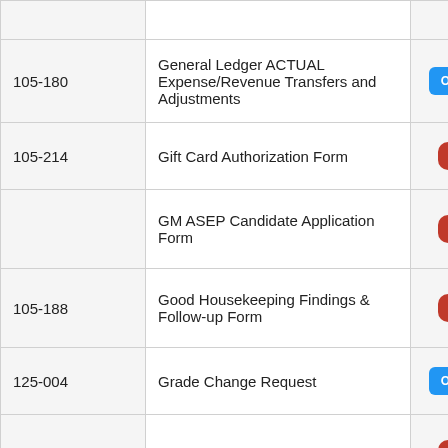| Form # | Form Name | Type |
| --- | --- | --- |
| 105-180 | General Ledger ACTUAL Expense/Revenue Transfers and Adjustments | ONLINE |
| 105-214 | Gift Card Authorization Form | PDF |
|  | GM ASEP Candidate Application Form | PDF |
| 105-188 | Good Housekeeping Findings & Follow-up Form | PDF |
| 125-004 | Grade Change Request | ONLINE |
| 105-052 | Grant Proposal Transmittal Form | PDF |
| 125-150 | Honors Course Evaluation | PDF |